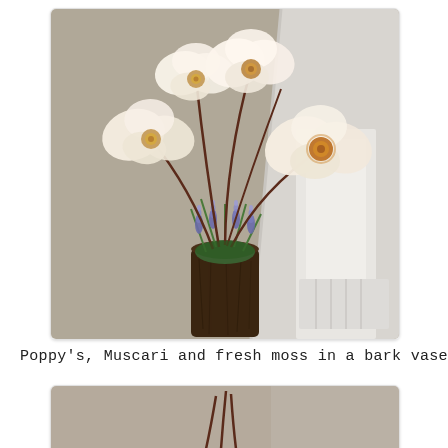[Figure (photo): A tall cylindrical bark vase containing large cream/white poppy flowers with dark reddish-brown stems, blue muscari flowers, green grass, and moss. The arrangement is placed near a staircase with white railing and beige wall background.]
Poppy's, Muscari and fresh moss in a bark vase
[Figure (photo): Partial view of a second floral arrangement, cropped at the bottom of the page, showing stems and a beige background.]